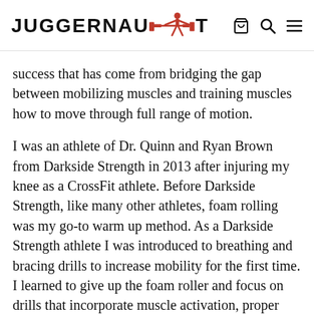JUGGERNAUT
success that has come from bridging the gap between mobilizing muscles and training muscles how to move through full range of motion.
I was an athlete of Dr. Quinn and Ryan Brown from Darkside Strength in 2013 after injuring my knee as a CrossFit athlete. Before Darkside Strength, like many other athletes, foam rolling was my go-to warm up method. As a Darkside Strength athlete I was introduced to breathing and bracing drills to increase mobility for the first time. I learned to give up the foam roller and focus on drills that incorporate muscle activation, proper joint alignment, and movement through full range of motion into my warm ups. I went on to become a Juggernaut Certified Coach through